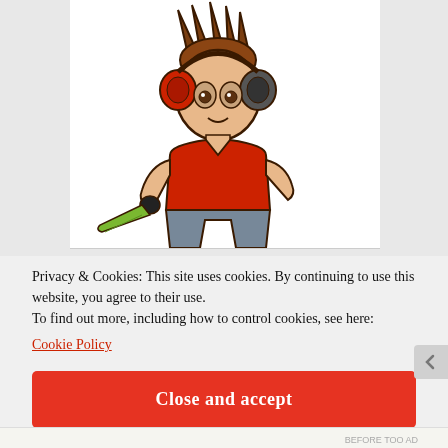[Figure (illustration): Cartoon illustration of a game character: a boy with spiky brown hair, wearing red headphones, a red t-shirt, grey pants, holding a green machete/sword. Drawn in a comic/Roblox-like style.]
Privacy & Cookies: This site uses cookies. By continuing to use this website, you agree to their use.
To find out more, including how to control cookies, see here:
Cookie Policy
Close and accept